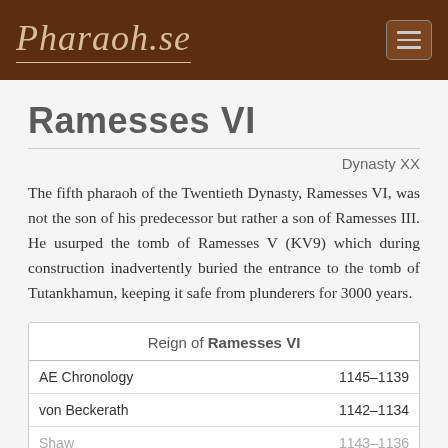Pharaoh.se
Ramesses VI
Dynasty XX
The fifth pharaoh of the Twentieth Dynasty, Ramesses VI, was not the son of his predecessor but rather a son of Ramesses III. He usurped the tomb of Ramesses V (KV9) which during construction inadvertently buried the entrance to the tomb of Tutankhamun, keeping it safe from plunderers for 3000 years.
| Reign of Ramesses VI |  |
| --- | --- |
| AE Chronology | 1145–1139 |
| von Beckerath | 1142–1134 |
| Shaw | 1143–1136 |